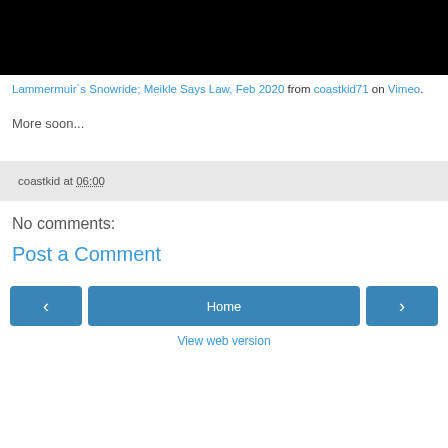[Figure (photo): Black rectangle representing a video thumbnail/player area]
Lammermuir`s Snowride; Meikle Says Law, Feb 2020 from coastkid71 on Vimeo.
More soon...
coastkid at 06:00
No comments:
Post a Comment
Home
View web version